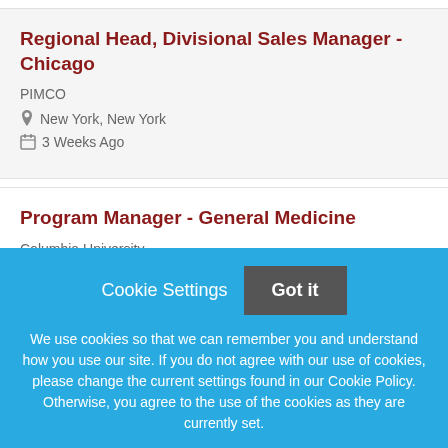Regional Head, Divisional Sales Manager - Chicago
PIMCO
New York, New York
3 Weeks Ago
Program Manager - General Medicine
Columbia University
Cookie Settings   Got it
We use cookies so that we can remember you and understand how you use our site. If you do not agree with our use of cookies, please change the current settings found in our Cookie Policy. Otherwise, you agree to the use of the cookies as they are currently set.